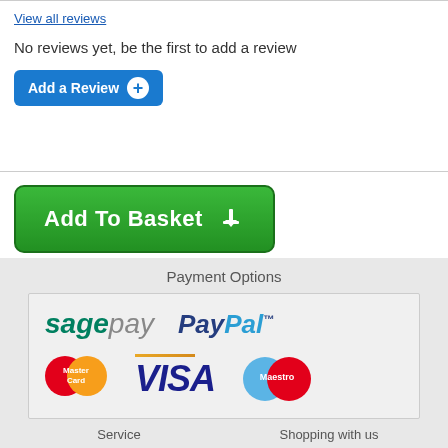No reviews yet, be the first to add a review
[Figure (screenshot): Add a Review button with blue rounded rectangle and plus circle icon]
[Figure (screenshot): Green Add To Basket button with download/basket icon]
Payment Options
[Figure (logo): Payment logos: sagepay, PayPal, MasterCard, VISA, Maestro]
Service
Shopping with us
Contact
SSL Secure Connection